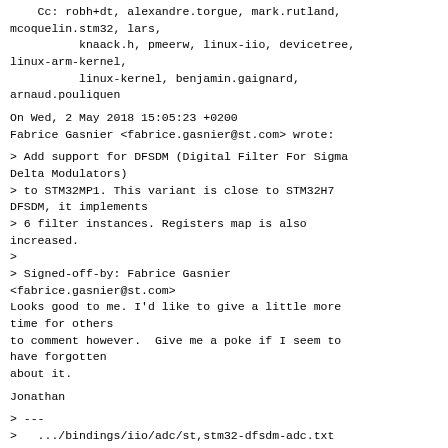Cc: robh+dt, alexandre.torgue, mark.rutland,
mcoquelin.stm32, lars,
          knaack.h, pmeerw, linux-iio, devicetree,
linux-arm-kernel,
          linux-kernel, benjamin.gaignard,
arnaud.pouliquen
On Wed, 2 May 2018 15:05:23 +0200
Fabrice Gasnier <fabrice.gasnier@st.com> wrote:
> Add support for DFSDM (Digital Filter For Sigma
Delta Modulators)
> to STM32MP1. This variant is close to STM32H7
DFSDM, it implements
> 6 filter instances. Registers map is also
increased.
>
> Signed-off-by: Fabrice Gasnier
<fabrice.gasnier@st.com>
Looks good to me. I'd like to give a little more
time for others
to comment however.  Give me a poke if I seem to
have forgotten
about it.
Jonathan
> ---
>   .../bindings/iio/adc/st,stm32-dfsdm-adc.txt
|   7 ++++--